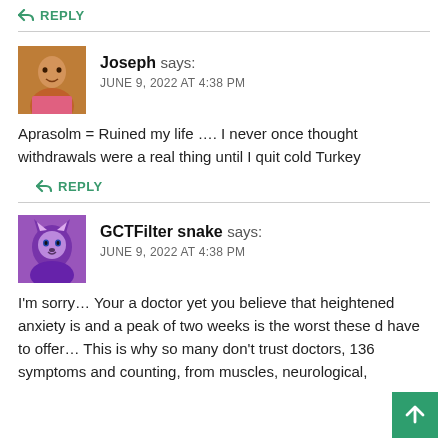↩ REPLY
Joseph says: JUNE 9, 2022 AT 4:38 PM
Aprasolm = Ruined my life …. I never once thought withdrawals were a real thing until I quit cold Turkey
↩ REPLY
GCTFilter snake says: JUNE 9, 2022 AT 4:38 PM
I'm sorry… Your a doctor yet you believe that heightened anxiety is and a peak of two weeks is the worst these d have to offer… This is why so many don't trust doctors, 136 symptoms and counting, from muscles, neurological,